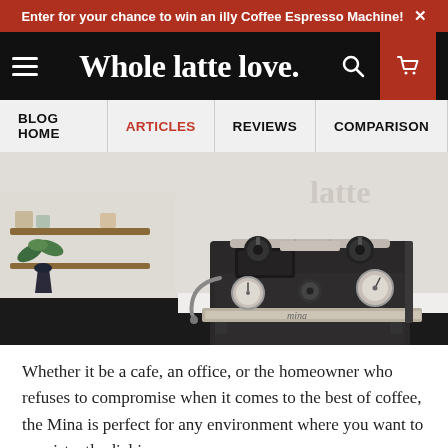Enter for your chance to win an illy Coffee Espresso Machine! ×
Whole latte love.
BLOG HOME | ARTICLES | REVIEWS | COMPARISON
[Figure (photo): Photo of a Mina espresso machine on a white counter with shelving and a plant in the background.]
Whether it be a cafe, an office, or the homeowner who refuses to compromise when it comes to the best of coffee, the Mina is perfect for any environment where you want to consistently dial in a